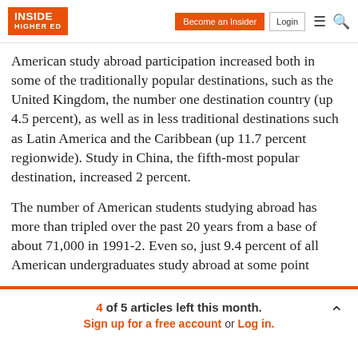Inside Higher Ed — Become an Insider | Login
American study abroad participation increased both in some of the traditionally popular destinations, such as the United Kingdom, the number one destination country (up 4.5 percent), as well as in less traditional destinations such as Latin America and the Caribbean (up 11.7 percent regionwide). Study in China, the fifth-most popular destination, increased 2 percent.
The number of American students studying abroad has more than tripled over the past 20 years from a base of about 71,000 in 1991-2. Even so, just 9.4 percent of all American undergraduates study abroad at some point
4 of 5 articles left this month. Sign up for a free account or Log in.